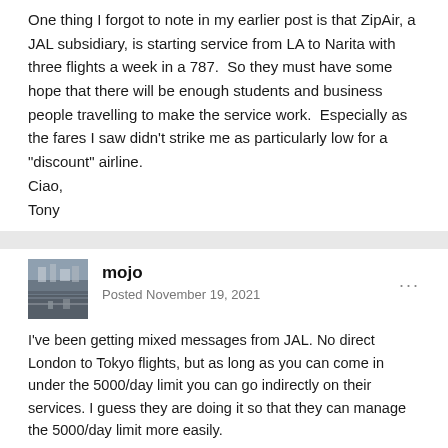One thing I forgot to note in my earlier post is that ZipAir, a JAL subsidiary, is starting service from LA to Narita with three flights a week in a 787.  So they must have some hope that there will be enough students and business people travelling to make the service work.  Especially as the fares I saw didn't strike me as particularly low for a "discount" airline.
Ciao,
Tony
mojo
Posted November 19, 2021
I've been getting mixed messages from JAL. No direct London to Tokyo flights, but as long as you can come in under the 5000/day limit you can go indirectly on their services. I guess they are doing it so that they can manage the 5000/day limit more easily.
At least I hope so, it would be a shame to lose direct flights from London.